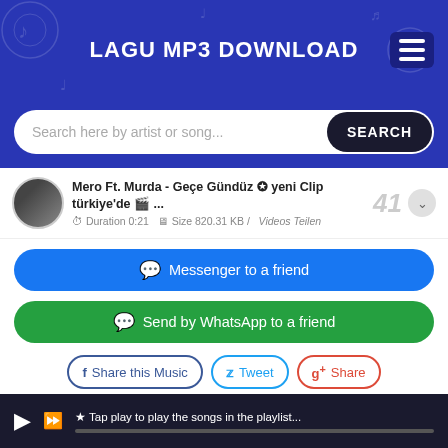LAGU MP3 DOWNLOAD
Search here by artist or song...
Mero Ft. Murda - Geçe Gündüz ✪ yeni Clip türkiye'de 🎬 ... Duration 0:21  Size 820.31 KB / Videos Teilen
● Messenger to a friend
● Send by WhatsApp to a friend
f Share this Music  🐦 Tweet  g+ Share
★ Music Murda Gece Gunduz Ft Mero Prod Spanker 100% FREE!
★ lagump3downloads.net On lagump3downloads.net we do not stay all the MP3 files as they are in different websites
★ Tap play to play the songs in the playlist...